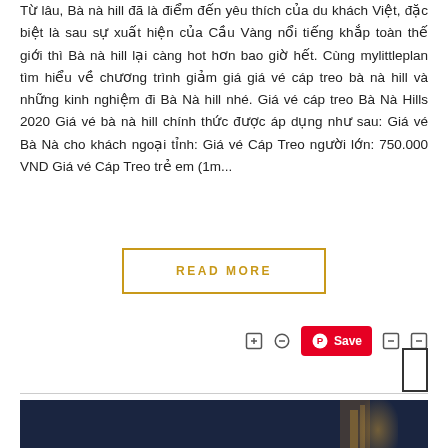Từ lâu, Bà nà hill đã là điểm đến yêu thích của du khách Việt, đặc biệt là sau sự xuất hiện của Cầu Vàng nổi tiếng khắp toàn thế giới thì Bà nà hill lại càng hot hơn bao giờ hết. Cùng mylittleplan tìm hiểu về chương trình giảm giá giá vé cáp treo bà nà hill và những kinh nghiệm đi Bà Nà hill nhé. Giá vé cáp treo Bà Nà Hills 2020 Giá vé bà nà hill chính thức được áp dụng như sau: Giá vé Bà Nà cho khách ngoại tỉnh: Giá vé Cáp Treo người lớn: 750.000 VND Giá vé Cáp Treo trẻ em (1m...
READ MORE
[Figure (screenshot): Social sharing icons bar with Pinterest Save button (red background) and a small bookmark/save box outline on the right side]
[Figure (photo): Dark blue/navy photo at the bottom of the page, appears to show a structure or landmark with a warm golden glow on the right side]